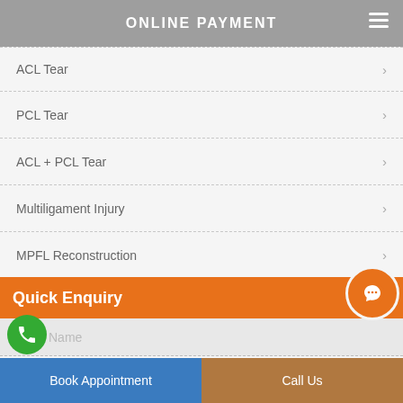ONLINE PAYMENT
ACL Tear
PCL Tear
ACL + PCL Tear
Multiligament Injury
MPFL Reconstruction
ACL Reconstruction Rehablitation
PCL Reconstruction Rehablitation
Quick Enquiry
Name
Book Appointment | Call Us